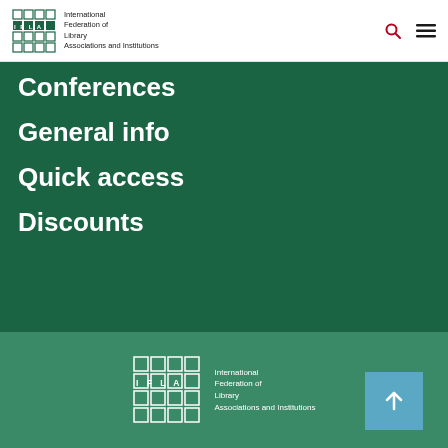IFLA – International Federation of Library Associations and Institutions
Conferences
General info
Quick access
Discounts
International Federation of Library Associations and Institutions